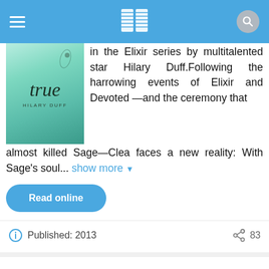Navigation bar with hamburger menu, book logo, and search icon
[Figure (illustration): Book cover of 'true' by Hilary Duff with teal/green background]
in the Elixir series by multitalented star Hilary Duff.Following the harrowing events of Elixir and Devoted—and the ceremony that almost killed Sage—Clea faces a new reality: With Sage's soul... show more ▼
Read online
Published: 2013    83
Stink and the Incredible Super-Galactic